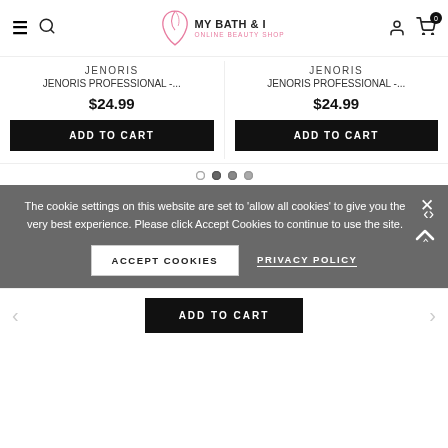MY BATH & I — ONLINE BEAUTY SHOP
JENORIS
JENORIS PROFESSIONAL -...
$24.99
ADD TO CART
JENORIS
JENORIS PROFESSIONAL -...
$24.99
ADD TO CART
The cookie settings on this website are set to 'allow all cookies' to give you the very best experience. Please click Accept Cookies to continue to use the site.
ACCEPT COOKIES
PRIVACY POLICY
ADD TO CART